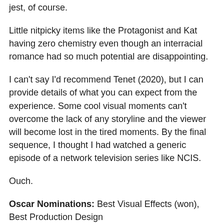jest, of course.
Little nitpicky items like the Protagonist and Kat having zero chemistry even though an interracial romance had so much potential are disappointing.
I can't say I'd recommend Tenet (2020), but I can provide details of what you can expect from the experience. Some cool visual moments can't overcome the lack of any storyline and the viewer will become lost in the tired moments. By the final sequence, I thought I had watched a generic episode of a network television series like NCIS.
Ouch.
Oscar Nominations: Best Visual Effects (won), Best Production Design